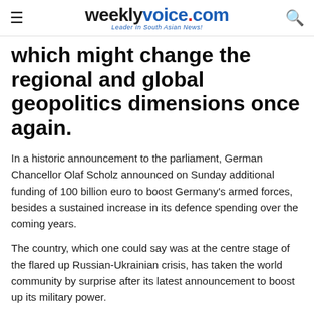weeklyvoice.com — Leader In South Asian News!
which might change the regional and global geopolitics dimensions once again.
In a historic announcement to the parliament, German Chancellor Olaf Scholz announced on Sunday additional funding of 100 billion euro to boost Germany's armed forces, besides a sustained increase in its defence spending over the coming years.
The country, which one could say was at the centre stage of the flared up Russian-Ukrainian crisis, has taken the world community by surprise after its latest announcement to boost up its military power.